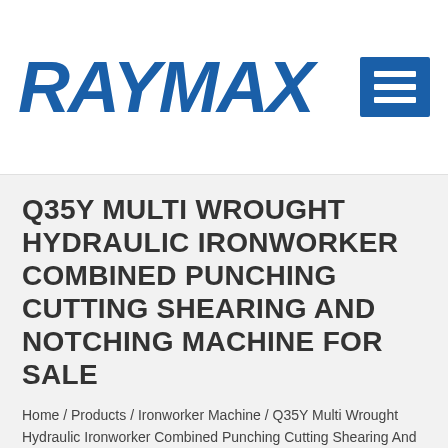RAYMAX
Q35Y MULTI WROUGHT HYDRAULIC IRONWORKER COMBINED PUNCHING CUTTING SHEARING AND NOTCHING MACHINE FOR SALE
Home / Products / Ironworker Machine / Q35Y Multi Wrought Hydraulic Ironworker Combined Punching Cutting Shearing And Notching Machine For Sale